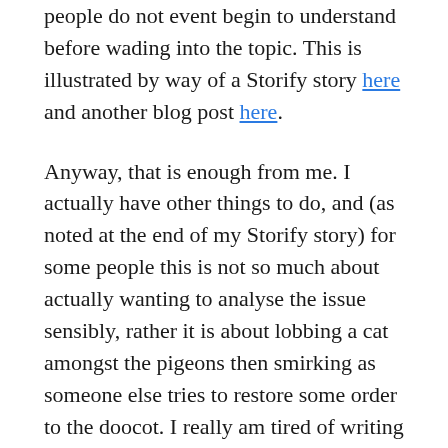people do not event begin to understand before wading into the topic. This is illustrated by way of a Storify story here and another blog post here.
Anyway, that is enough from me. I actually have other things to do, and (as noted at the end of my Storify story) for some people this is not so much about actually wanting to analyse the issue sensibly, rather it is about lobbing a cat amongst the pigeons then smirking as someone else tries to restore some order to the doocot. I really am tired of writing about this cac.
Tadhail air Gaelic ... hasadnrass